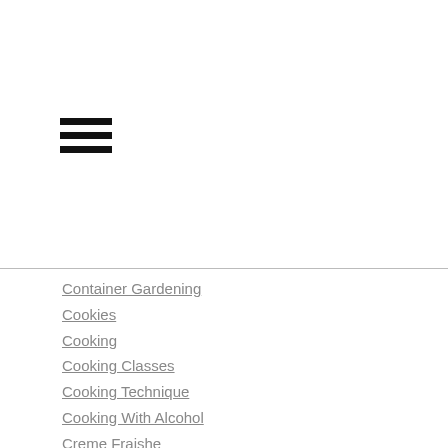[Figure (other): Hamburger menu icon with three horizontal black lines]
Container Gardening
Cookies
Cooking
Cooking Classes
Cooking Technique
Cooking With Alcohol
Creme Fraishe
Critiquing Food
Culinary Instruction
Culinary Tools
Culinary Tour
Dairy
Dangerous Food
Deglazing
Dining Atmosphere
Eat
Eating
Eating Local
Eat Pray Love